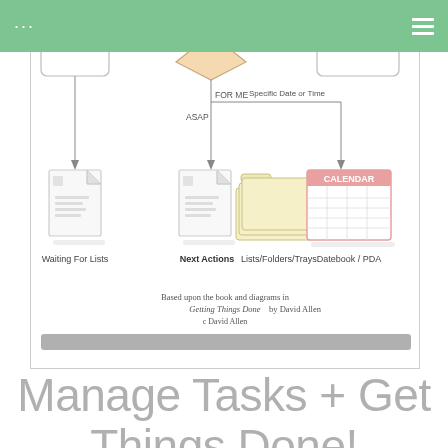... ☰
[Figure (flowchart): GTD (Getting Things Done) flowchart showing decision branches: FOR ME with ASAP leading to Waiting For Lists and Next Actions Lists/Folders/Trays, and Specific Date or Time leading to Datebook/PDA. Caption: Based upon the book and diagrams in Getting Things Done by David Allen © David Allen]
Manage Tasks + Get Things Done!